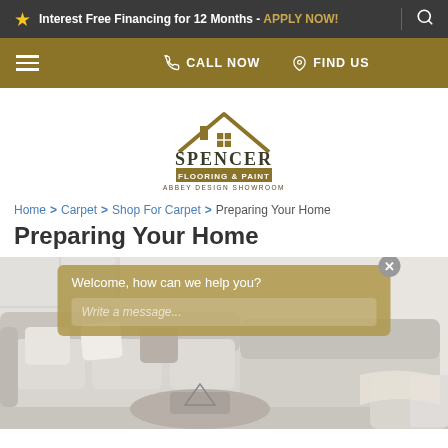Interest Free Financing for 12 Months - APPLY NOW!
CALL NOW   FIND US
[Figure (logo): Spencer Flooring & Paint - Abbey Design Showroom logo with house/roof graphic above the text]
Home > Carpet > Shop For Carpet > Preparing Your Home
Preparing Your Home
[Figure (photo): Living room with light grey sectional sofa, decorative pillows, round coffee table with geometric decor, and bright windows. A chat widget overlay reads 'Welcome, how can we help you?' with a message input box.]